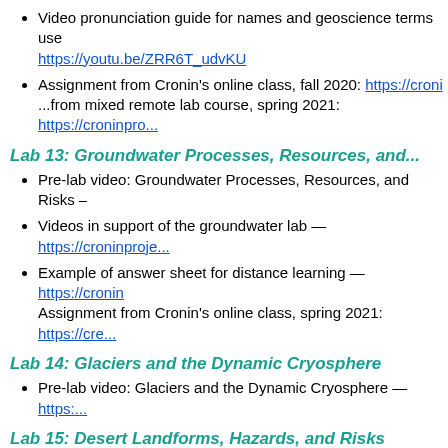Video pronunciation guide for names and geoscience terms use... https://youtu.be/ZRR6T_udvKU
Assignment from Cronin's online class, fall 2020: https://croni... ...from mixed remote lab course, spring 2021: https://croninpro...
Lab 13: Groundwater Processes, Resources, and...
Pre-lab video: Groundwater Processes, Resources, and Risks –
Videos in support of the groundwater lab — https://croninproje...
Example of answer sheet for distance learning — https://cronin... Assignment from Cronin's online class, spring 2021: https://cre...
Lab 14: Glaciers and the Dynamic Cryosphere
Pre-lab video: Glaciers and the Dynamic Cryosphere — https:...
Lab 15: Desert Landforms, Hazards, and Risks
Pre-lab video: Dryland Landforms, Hazards, and Risks — http...
Lab 16: Coastal Processes, Landforms, Hazards...